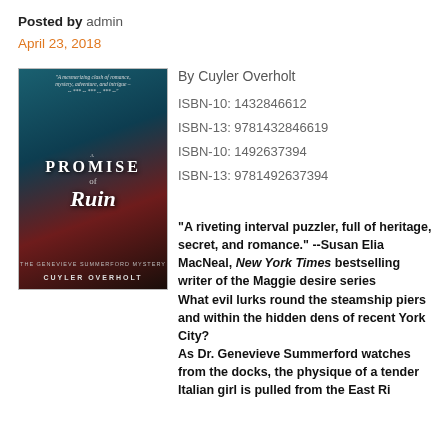Posted by admin
April 23, 2018
[Figure (illustration): Book cover for 'A Promise of Ruin' by Cuyler Overholt, featuring a woman in red against a teal/dark background with ornamental scrollwork]
By Cuyler Overholt
ISBN-10: 1432846612
ISBN-13: 9781432846619
ISBN-10: 1492637394
ISBN-13: 9781492637394
"A riveting interval puzzler, full of heritage, secret, and romance." --Susan Elia MacNeal, New York Times bestselling writer of the Maggie desire series
What evil lurks round the steamship piers and within the hidden dens of recent York City?
As Dr. Genevieve Summerford watches from the docks, the physique of a tender Italian girl is pulled from the East Ri...